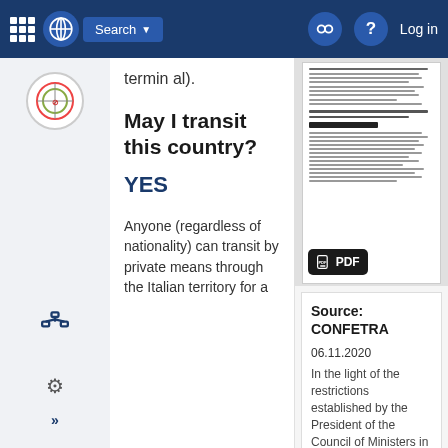Search  Log in
terminal).
May I transit this country?
YES
Anyone (regardless of nationality) can transit by private means through the Italian territory for a
[Figure (screenshot): PDF document preview with PDF badge icon]
Source: CONFETRA
06.11.2020
In the light of the restrictions established by the President of the Council of Ministers in